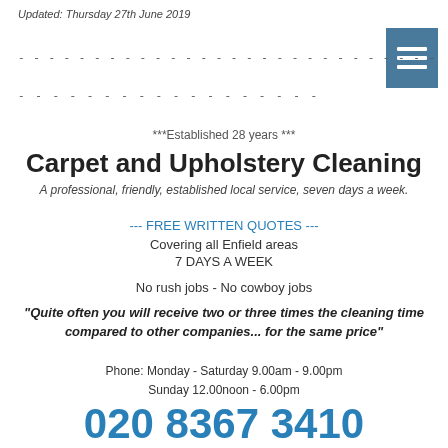Updated: Thursday 27th June 2019
Carpet and Upholstery Cleaning
***Established 28 years ***
A professional, friendly, established local service, seven days a week.
--- FREE WRITTEN QUOTES ---
Covering all Enfield areas
7 DAYS A WEEK
No rush jobs - No cowboy jobs
"Quite often you will receive two or three times the cleaning time compared to other companies... for the same price"
Phone: Monday - Saturday 9.00am - 9.00pm
Sunday 12.00noon - 6.00pm
020 8367 3410